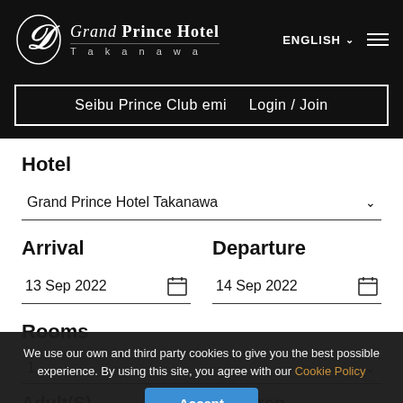Grand Prince Hotel Takanawa — ENGLISH
Seibu Prince Club emi   Login / Join
Hotel
Grand Prince Hotel Takanawa
Arrival
13 Sep 2022
Departure
14 Sep 2022
Rooms
1
Adult(S)
Children
1
0
We use our own and third party cookies to give you the best possible experience. By using this site, you agree with our Cookie Policy
Accept